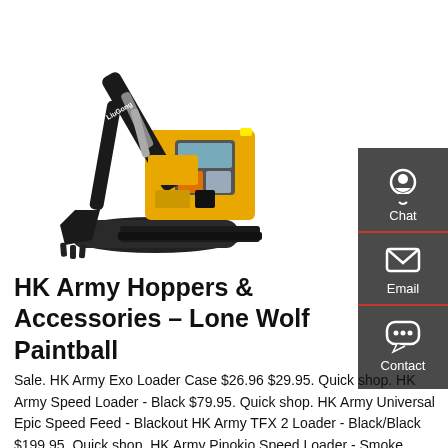[Figure (photo): Yellow and black LiuGong mini excavator with bucket attachment on white background]
[Figure (infographic): Dark gray sidebar with Chat (headset icon), Email (envelope icon), and Contact (speech bubble icon) buttons]
HK Army Hoppers & Accessories – Lone Wolf Paintball
Sale. HK Army Exo Loader Case $26.96 $29.95. Quick shop. HK Army Speed Loader - Black $79.95. Quick shop. HK Army Universal Epic Speed Feed - Blackout HK Army TFX 2 Loader - Black/Black $199.95. Quick shop. HK Army Pinokio Speed Loader - Smoke $99.95. Back to the top. Sign up to receive